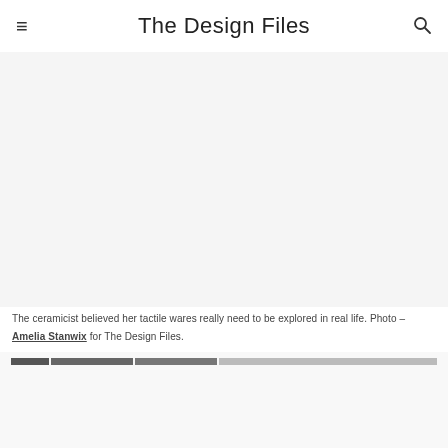The Design Files
[Figure (photo): Large white/blank image area — photo of ceramicist's tactile wares (content not visible in render)]
The ceramicist believed her tactile wares really need to be explored in real life. Photo – Amelia Stanwix for The Design Files.
[Figure (photo): Thumbnail strip and partial bottom image area]